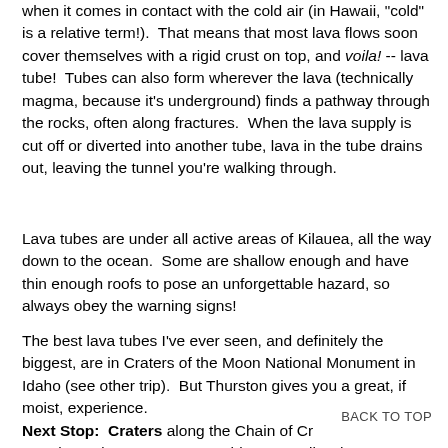when it comes in contact with the cold air (in Hawaii, "cold" is a relative term!).  That means that most lava flows soon cover themselves with a rigid crust on top, and voila! -- lava tube!  Tubes can also form wherever the lava (technically magma, because it's underground) finds a pathway through the rocks, often along fractures.  When the lava supply is cut off or diverted into another tube, lava in the tube drains out, leaving the tunnel you're walking through.
Lava tubes are under all active areas of Kilauea, all the way down to the ocean.  Some are shallow enough and have thin enough roofs to pose an unforgettable hazard, so always obey the warning signs!
The best lava tubes I've ever seen, and definitely the biggest, are in Craters of the Moon National Monument in Idaho (see other trip).  But Thurston gives you a great, if moist, experience.
BACK TO TOP
Next Stop:  Craters along the Chain of Cr Stop by and see Luamanu, Puhimau, Devil's Throat,